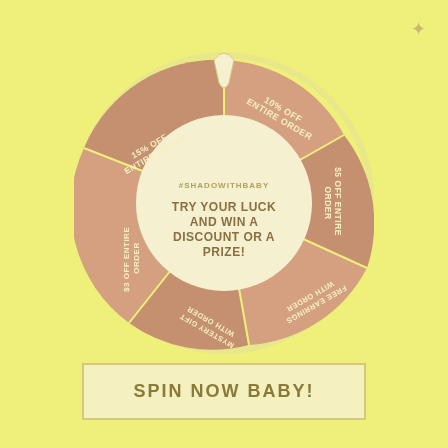[Figure (pie-chart): A spin-the-wheel donut chart with 6 segments showing various discounts and prizes. Center text reads: #SHADOWITHBABY / TRY YOUR LUCK AND WIN A DISCOUNT OR A PRIZE!]
SPIN NOW BABY!